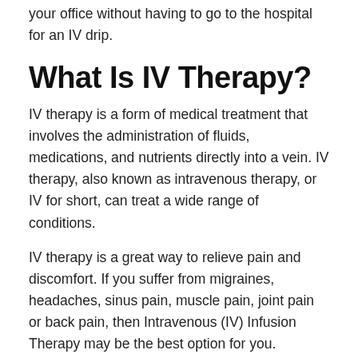your office without having to go to the hospital for an IV drip.
What Is IV Therapy?
IV therapy is a form of medical treatment that involves the administration of fluids, medications, and nutrients directly into a vein. IV therapy, also known as intravenous therapy, or IV for short, can treat a wide range of conditions.
IV therapy is a great way to relieve pain and discomfort. If you suffer from migraines, headaches, sinus pain, muscle pain, joint pain or back pain, then Intravenous (IV) Infusion Therapy may be the best option for you.
This therapy utilizes intravenous fluids